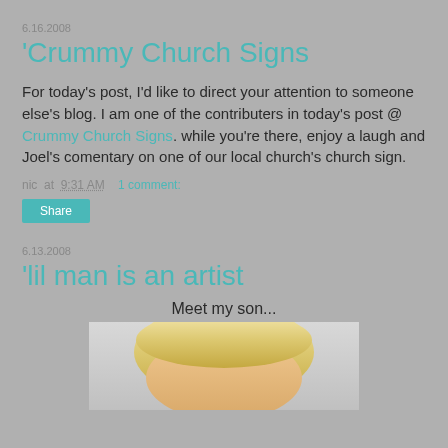6.16.2008
Crummy Church Signs
For today's post, I'd like to direct your attention to someone else's blog. I am one of the contributers in today's post @ Crummy Church Signs. while you're there, enjoy a laugh and Joel's comentary on one of our local church's church sign.
nic at 9:31 AM    1 comment:
Share
6.13.2008
'lil man is an artist
Meet my son...
[Figure (photo): Photo of a young blonde child, cropped to show mostly top of head with blonde hair]